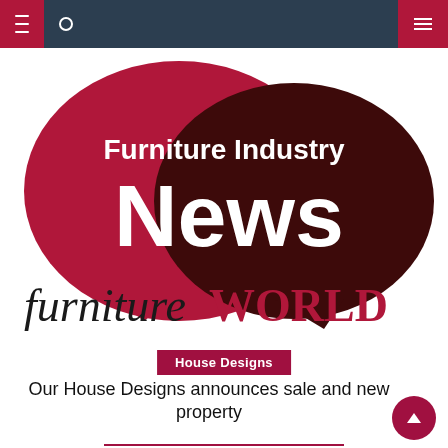Navigation bar with menu and search icons
[Figure (logo): Furniture Industry News logo: two overlapping speech bubbles (red and dark maroon) with text 'Furniture Industry News' in white, and 'furniture WORLD' text below in dark and red serif italic/bold fonts]
House Designs
Our House Designs announces sale and new property